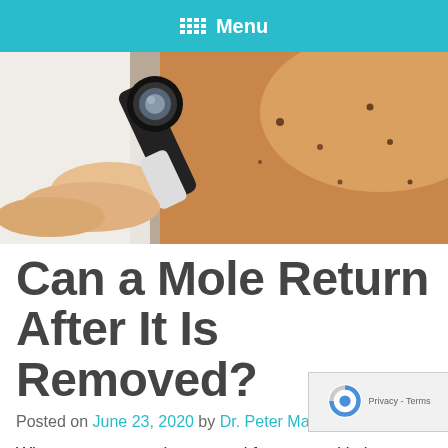Menu
[Figure (photo): A doctor or dermatologist holding a dermatoscope magnifying glass to examine moles on a patient's shoulder/back skin]
Can a Mole Return After It Is Removed?
Posted on June 23, 2020 by Dr. Peter Mann
When you get a mole removed from your skin by a